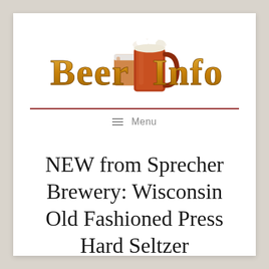[Figure (logo): BeerInfo.com logo with decorative golden serif text 'Beer Info' and two beer mugs illustration]
Menu
NEW from Sprecher Brewery: Wisconsin Old Fashioned Press Hard Seltzer